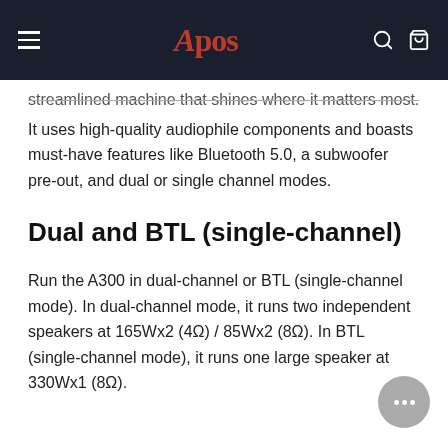Apos
streamlined machine that shines where it matters most. It uses high-quality audiophile components and boasts must-have features like Bluetooth 5.0, a subwoofer pre-out, and dual or single channel modes.
Dual and BTL (single-channel)
Run the A300 in dual-channel or BTL (single-channel mode). In dual-channel mode, it runs two independent speakers at 165Wx2 (4Ω) / 85Wx2 (8Ω). In BTL (single-channel mode), it runs one large speaker at 330Wx1 (8Ω).